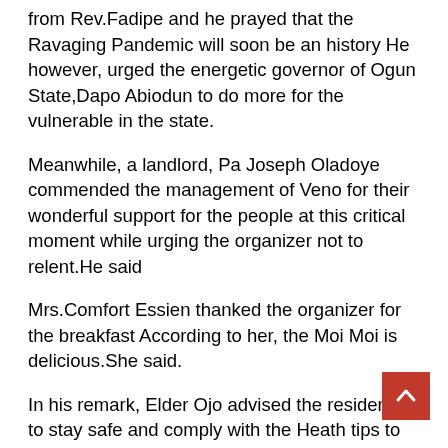from Rev.Fadipe and he prayed that the Ravaging Pandemic will soon be an history He however, urged the energetic governor of Ogun State,Dapo Abiodun to do more for the vulnerable in the state.
Meanwhile, a landlord, Pa Joseph Oladoye commended the management of Veno for their wonderful support for the people at this critical moment while urging the organizer not to relent.He said
Mrs.Comfort Essien thanked the organizer for the breakfast According to her, the Moi Moi is delicious.She said.
In his remark, Elder Ojo advised the residents to stay safe and comply with the Heath tips to curb the spread of the pandemic. He equally charged the Federal Government and Ogun State Government to do more for the masses, and advise them to send token to the individual accounts through the BVN.Also on the banks to support and surprise customers in the ongoing fight against the pandemic as we lost highly placed government officials.Mallam Aliyu Knoints the odd knobs of eby they do the